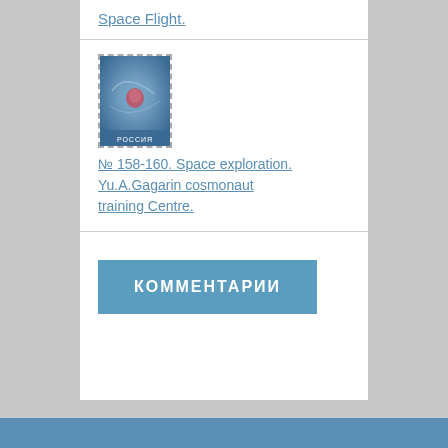Space Flight.
[Figure (photo): Small postage stamp showing a space-themed image with blue and red colors, dashed border, Russian text 'РОССИЯ' at bottom]
№ 158-160. Space exploration. Yu.A.Gagarin cosmonaut training Centre.
КОММЕНТАРИИ